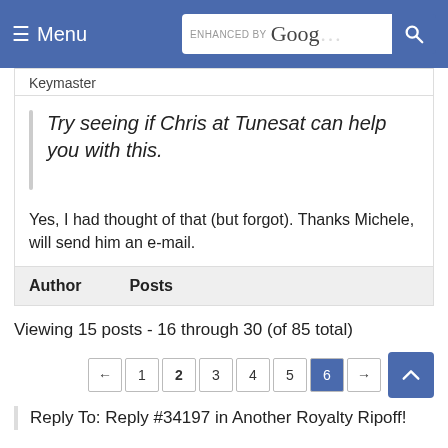≡ Menu | ENHANCED BY Google [search]
Keymaster
Try seeing if Chris at Tunesat can help you with this.
Yes, I had thought of that (but forgot). Thanks Michele, will send him an e-mail.
Author    Posts
Viewing 15 posts - 16 through 30 (of 85 total)
← 1 2 3 4 5 6 →
Reply To: Reply #34197 in Another Royalty Ripoff!